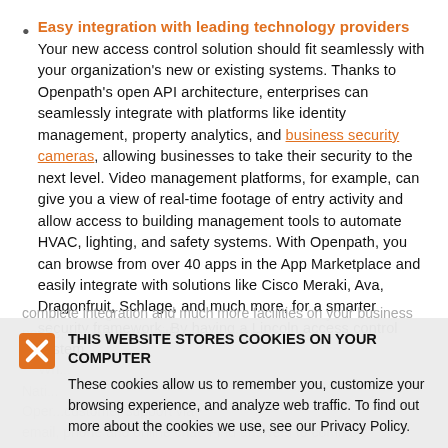Easy integration with leading technology providers
Your new access control solution should fit seamlessly with your organization's new or existing systems. Thanks to Openpath's open API architecture, enterprises can seamlessly integrate with platforms like identity management, property analytics, and business security cameras, allowing businesses to take their security to the next level. Video management platforms, for example, can give you a view of real-time footage of entry activity and allow access to building management tools to automate HVAC, lighting, and safety systems. With Openpath, you can browse from over 40 apps in the App Marketplace and easily integrate with solutions like Cisco Meraki, Ava, Dragonfruit, Schlage, and much more, for a smarter security framework. By having a Lincoln access control system complete integration and much more facilities on your business needs, comply more with less investment
THIS WEBSITE STORES COOKIES ON YOUR COMPUTER
These cookies allow us to remember you, customize your browsing experience, and analyze web traffic. To find out more about the cookies we use, see our Privacy Policy.